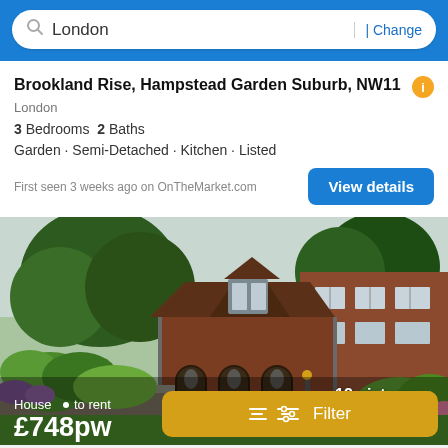London | Change
Brookland Rise, Hampstead Garden Suburb, NW11
London
3 Bedrooms  2 Baths
Garden · Semi-Detached · Kitchen · Listed
First seen 3 weeks ago on OnTheMarket.com
[Figure (photo): Exterior photo of a semi-detached red brick house with arched windows and garden surroundings in Hampstead Garden Suburb, London]
House · to rent £748pw
12 pictures
Filter